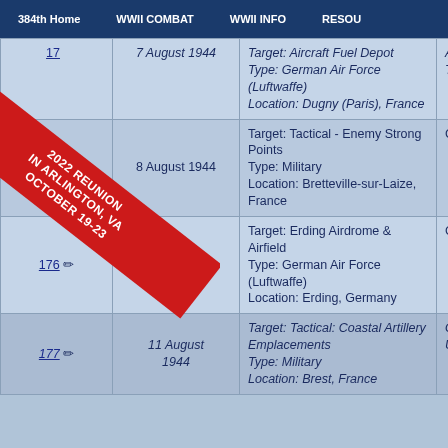384th Home | WWII COMBAT | WWII INFO | RESOU
| Mission | Date | Target/Type/Location | Result |
| --- | --- | --- | --- |
| 175 | 7 August 1944 | Target: Aircraft Fuel Depot
Type: German Air Force (Luftwaffe)
Location: Dugny (Paris), France | Aborted Taking O |
| 175 | 8 August 1944 | Target: Tactical - Enemy Strong Points
Type: Military
Location: Bretteville-sur-Laize, France | Complet |
| 176 | 9 August 1944 | Target: Erding Airdrome & Airfield
Type: German Air Force (Luftwaffe)
Location: Erding, Germany | Complet |
| 177 | 11 August 1944 | Target: Tactical: Coastal Artillery Emplacements
Type: Military
Location: Brest, France | Ground A Unused |